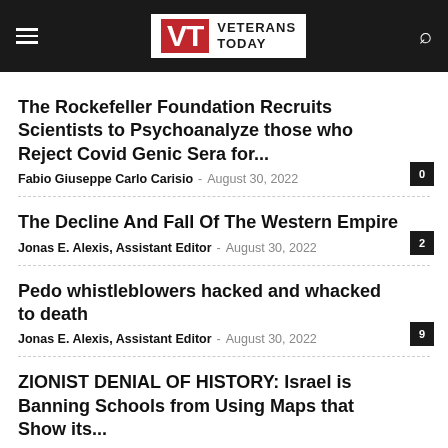Veterans Today
The Rockefeller Foundation Recruits Scientists to Psychoanalyze those who Reject Covid Genic Sera for...
Fabio Giuseppe Carlo Carisio – August 30, 2022
The Decline And Fall Of The Western Empire
Jonas E. Alexis, Assistant Editor – August 30, 2022
Pedo whistleblowers hacked and whacked to death
Jonas E. Alexis, Assistant Editor – August 30, 2022
ZIONIST DENIAL OF HISTORY: Israel is Banning Schools from Using Maps that Show its...